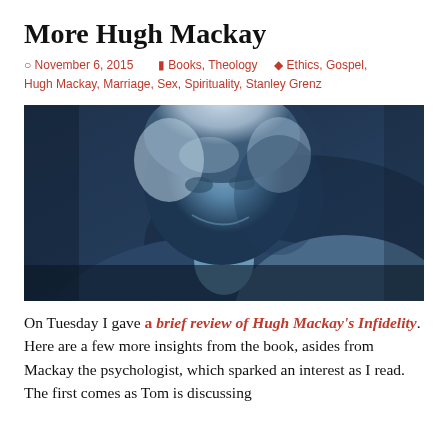More Hugh Mackay
November 6, 2015   Books, Theology   Ethics, Gospel, Hugh Mackay, Marriage, Sex, Spirituality, Stanley Grenz
[Figure (photo): Black and white (blue-tinted) photo of an older man with white/grey hair smiling, looking downward, close-up portrait.]
On Tuesday I gave a brief review of Hugh Mackay's Infidelity. Here are a few more insights from the book, asides from Mackay the psychologist, which sparked an interest as I read. The first comes as Tom is discussing